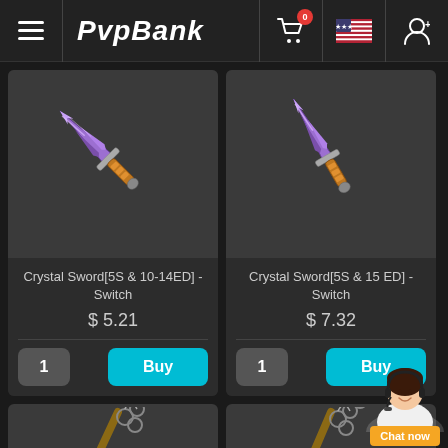PVPBank - navigation header with hamburger menu, cart (0), US flag, user icon
[Figure (screenshot): Crystal Sword item image - purple crystalline sword with orange handle]
Crystal Sword[5S & 10-14ED] - Switch
$ 5.21
1 | Buy
[Figure (screenshot): Crystal Sword item image - purple crystalline sword with orange handle]
Crystal Sword[5S & 15 ED] - Switch
$ 7.32
1 | Buy
[Figure (screenshot): Chain/staff weapon item - grey chain weapon with wooden handle, partially visible]
[Figure (screenshot): Chain/staff weapon item - grey chain weapon with wooden handle, partially visible]
[Figure (screenshot): Customer support agent photo with headset - Chat now button]